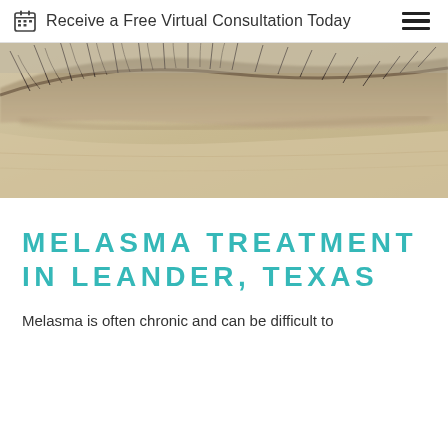Receive a Free Virtual Consultation Today
[Figure (photo): Close-up macro photo of a human eye with eyelashes, skin tone visible, soft focus, muted tones of beige and grey]
MELASMA TREATMENT IN LEANDER, TEXAS
Melasma is often chronic and can be difficult to